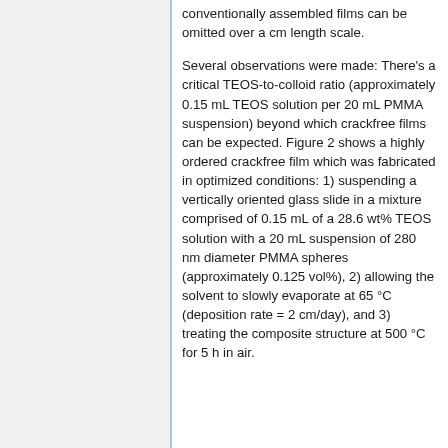conventionally assembled films can be omitted over a cm length scale.
Several observations were made: There's a critical TEOS-to-colloid ratio (approximately 0.15 mL TEOS solution per 20 mL PMMA suspension) beyond which crackfree films can be expected. Figure 2 shows a highly ordered crackfree film which was fabricated in optimized conditions: 1) suspending a vertically oriented glass slide in a mixture comprised of 0.15 mL of a 28.6 wt% TEOS solution with a 20 mL suspension of 280 nm diameter PMMA spheres (approximately 0.125 vol%), 2) allowing the solvent to slowly evaporate at 65 °C (deposition rate = 2 cm/day), and 3) treating the composite structure at 500 °C for 5 h in air.